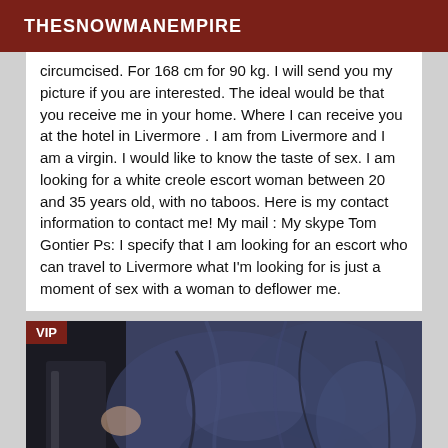THESNOWMANEMPIRE
circumcised. For 168 cm for 90 kg. I will send you my picture if you are interested. The ideal would be that you receive me in your home. Where I can receive you at the hotel in Livermore . I am from Livermore and I am a virgin. I would like to know the taste of sex. I am looking for a white creole escort woman between 20 and 35 years old, with no taboos. Here is my contact information to contact me! My mail : My skype Tom Gontier Ps: I specify that I am looking for an escort who can travel to Livermore what I'm looking for is just a moment of sex with a woman to deflower me.
[Figure (photo): A dark photograph showing denim fabric and partial figure, with a VIP badge in the top-left corner]